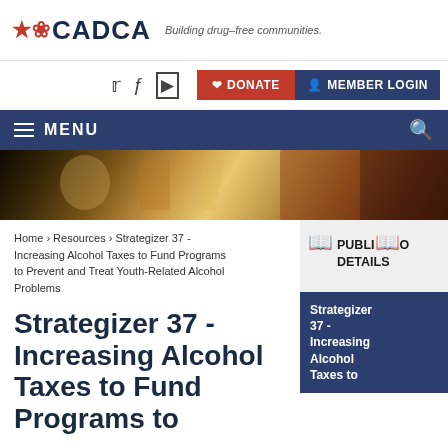CADCA · Building drug-free communities.
DONATE  MEMBER LOGIN
MENU
[Figure (photo): Hero banner image showing students or young people in a classroom/group setting, blurred/bokeh background with warm amber tones]
Home › Resources › Strategizer 37 - Increasing Alcohol Taxes to Fund Programs to Prevent and Treat Youth-Related Alcohol Problems
Strategizer 37 - Increasing Alcohol Taxes to Fund Programs to
PUBLICATION DETAILS
Strategizer 37 - Increasing Alcohol Taxes to